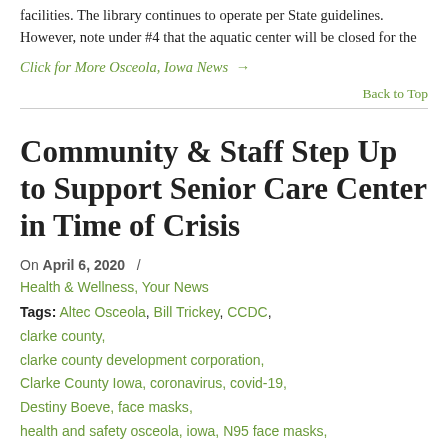facilities. The library continues to operate per State guidelines. However, note under #4 that the aquatic center will be closed for the
Click for More Osceola, Iowa News →
Back to Top
Community & Staff Step Up to Support Senior Care Center in Time of Crisis
On April 6, 2020  /
Health & Wellness, Your News
Tags: Altec Osceola, Bill Trickey, CCDC, clarke county, clarke county development corporation, Clarke County Iowa, coronavirus, covid-19, Destiny Boeve, face masks, health and safety osceola, iowa, N95 face masks,